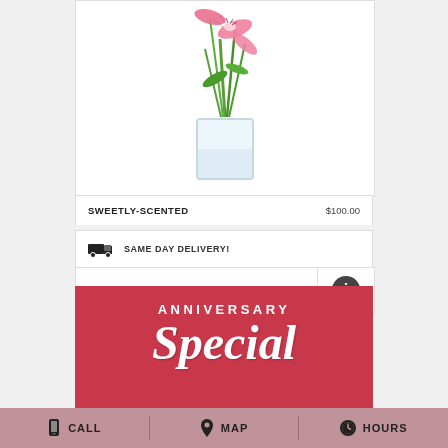[Figure (photo): Photo of pink stargazer lilies in a clear glass rectangular vase with green stems visible through the glass]
SWEETLY-SCENTED   $100.00
SAME DAY DELIVERY!
BUY NOW
[Figure (infographic): Anniversary Special promotional banner with red background, white text reading ANNIVERSARY and script text below]
CALL   MAP   HOURS